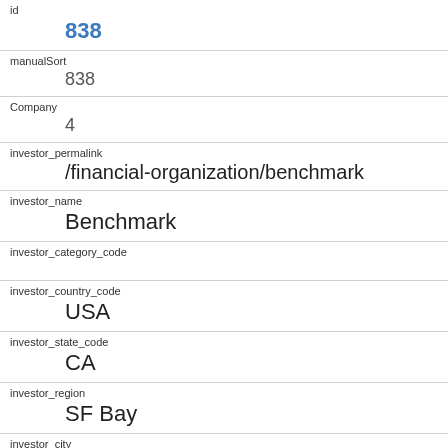| Field | Value |
| --- | --- |
| id | 838 |
| manualSort | 838 |
| Company | 4 |
| investor_permalink | /financial-organization/benchmark |
| investor_name | Benchmark |
| investor_category_code |  |
| investor_country_code | USA |
| investor_state_code | CA |
| investor_region | SF Bay |
| investor_city | Menlo Park |
| funding_round_type |  |